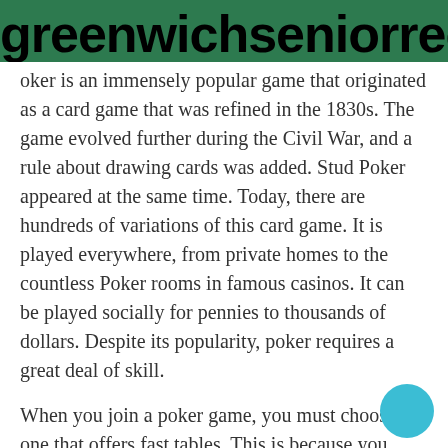greenwichseniorrecrui
oker is an immensely popular game that originated as a card game that was refined in the 1830s. The game evolved further during the Civil War, and a rule about drawing cards was added. Stud Poker appeared at the same time. Today, there are hundreds of variations of this card game. It is played everywhere, from private homes to the countless Poker rooms in famous casinos. It can be played socially for pennies to thousands of dollars. Despite its popularity, poker requires a great deal of skill.
When you join a poker game, you must choose one that offers fast tables. This is because you need to know what the criteria is for a good poker site. The first thing to look for is the license to operate online in Indonesia. Having a license to play poker in Indonesia an essential requirement for playing in the country. It's